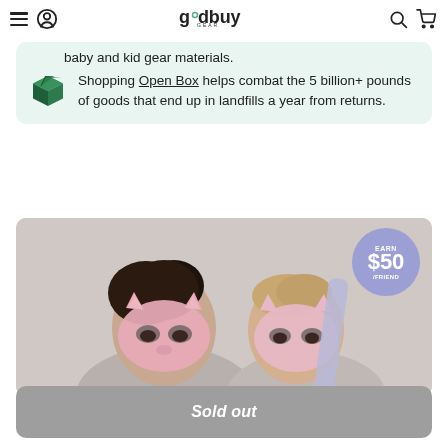goodbuy GEAR — navigation header
baby and kid gear materials.
Shopping Open Box helps combat the 5 billion+ pounds of goods that end up in landfills a year from returns.
[Figure (photo): Two children wearing pink animal face masks, photo with a circular badge overlay reading EARN $50 /FRIEND in purple/lavender]
Sold out